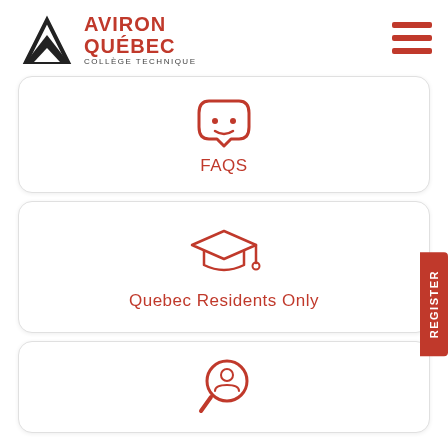[Figure (logo): Aviron Québec Collège Technique logo with black mountain/arrow icon and red bold text AVIRON QUÉBEC, subtitle COLLÈGE TECHNIQUE in black]
[Figure (other): Red hamburger menu icon (three horizontal lines) in top right corner]
[Figure (illustration): Red outline icon of a smiley face / chat bubble with dots inside a rounded square bracket frame, representing FAQs]
FAQS
[Figure (illustration): Red outline icon of a graduation cap (mortarboard) representing Quebec Residents Only]
Quebec Residents Only
[Figure (illustration): Red outline icon of a magnifying glass with a person silhouette inside, representing a search or candidate lookup]
REGISTER